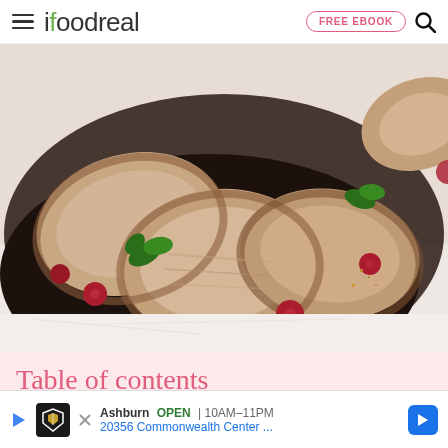ifoodreal — FREE EBOOK
[Figure (photo): Close-up overhead photo of sliced roasted turkey breast on a dark oval platter with cranberries and parsley garnish, on a white marble surface.]
Table of contents
[Figure (screenshot): Advertisement overlay: Topgolf Ashburn OPEN 10AM–11PM, 20356 Commonwealth Center...]